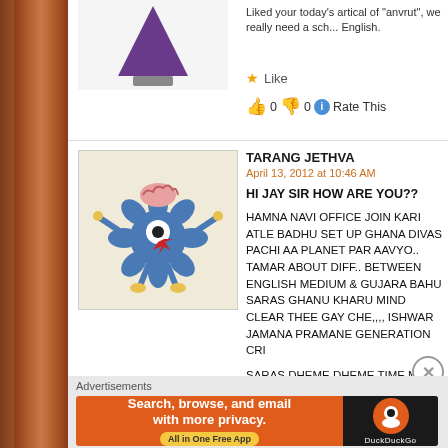Liked your today's artical of "anvrut", we really need a sch... English.
Like
0  0  Rate This
TARANG JETHVA
April 13, 2012 at 10:46 AM
HI JAY SIR HOW ARE YOU??
HAMNA NAVI OFFICE JOIN KARI ATLE BADHU SET UP GHANA DIVAS PACHI AA PLANET PAR AAVYO.. TAMAR ABOUT DIFF.. BETWEEN ENGLISH MEDIUM & GUJARA BAHU SARAS GHANU KHARU MIND CLEAR THEE GAY CHE,,,, ISHWAR JAMANA PRAMANE GENERATION CRI
SARAS DHEME DHEME TIME MALE ATLE MALATA RAH
THNAKS SIR
Advertisements
[Figure (screenshot): DuckDuckGo advertisement banner: Search, browse, and email with more privacy. All in One Free App]